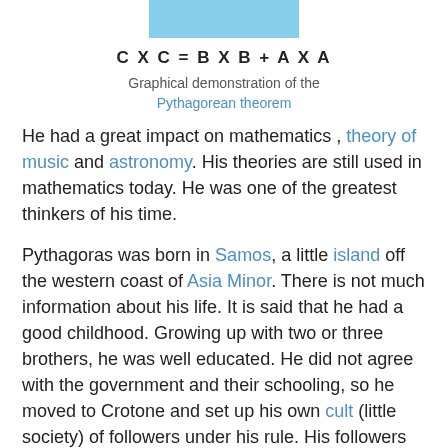[Figure (illustration): Blue rectangle representing the hypotenuse square in a graphical demonstration of the Pythagorean theorem]
Graphical demonstration of the Pythagorean theorem
He had a great impact on mathematics , theory of music and astronomy. His theories are still used in mathematics today. He was one of the greatest thinkers of his time.
Pythagoras was born in Samos, a little island off the western coast of Asia Minor. There is not much information about his life. It is said that he had a good childhood. Growing up with two or three brothers, he was well educated. He did not agree with the government and their schooling, so he moved to Crotone and set up his own cult (little society) of followers under his rule. His followers did not have any personal possessions, and they were all vegetarians. Pythagoras taught them all, and they had to